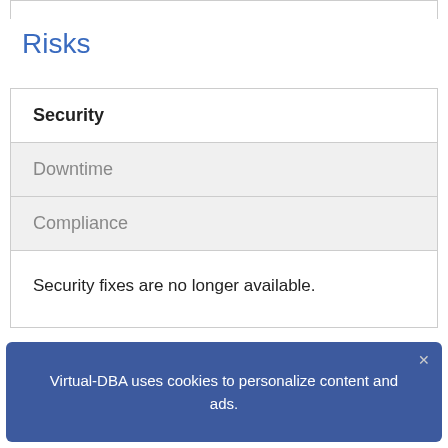Risks
| Security | Downtime | Compliance |
| --- | --- | --- |
| Security fixes are no longer available. | If a vulnerability is exposed, Microsoft |
Virtual-DBA uses cookies to personalize content and ads.